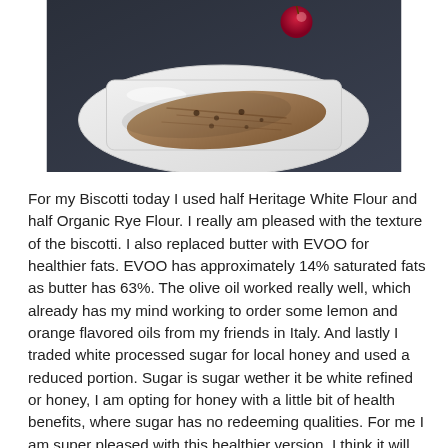[Figure (photo): A photo of a biscotti on a white square plate, with a small red fruit visible in the background, placed on a dark surface.]
For my Biscotti today I used half Heritage White Flour and half Organic Rye Flour. I really am pleased with the texture of the biscotti. I also replaced butter with EVOO for healthier fats. EVOO has approximately 14% saturated fats as butter has 63%. The olive oil worked really well, which already has my mind working to order some lemon and orange flavored oils from my friends in Italy. And lastly I traded white processed sugar for local honey and used a reduced portion. Sugar is sugar wether it be white refined or honey, I am opting for honey with a little bit of health benefits, where sugar has no redeeming qualities. For me I am super pleased with this healthier version, I think it will be